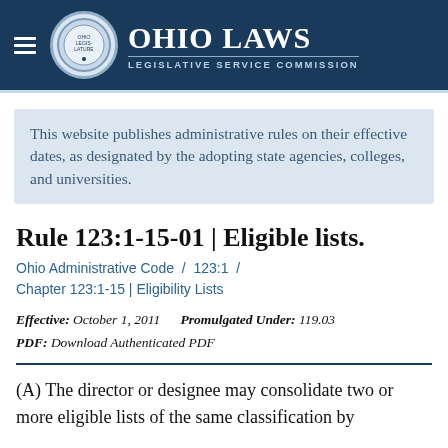Ohio Laws | Legislative Service Commission
This website publishes administrative rules on their effective dates, as designated by the adopting state agencies, colleges, and universities.
Rule 123:1-15-01 | Eligible lists.
Ohio Administrative Code / 123:1 / Chapter 123:1-15 | Eligibility Lists
Effective: October 1, 2011    Promulgated Under: 119.03
PDF: Download Authenticated PDF
(A) The director or designee may consolidate two or more eligible lists of the same classification by